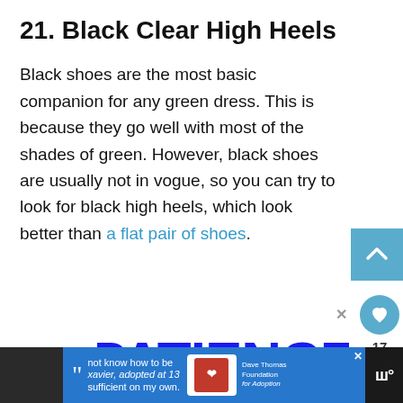21. Black Clear High Heels
Black shoes are the most basic companion for any green dress. This is because they go well with most of the shades of green. However, black shoes are usually not in vogue, so you can try to look for black high heels, which look better than a flat pair of shoes.
[Figure (screenshot): Blue scroll-to-top arrow button on right side]
[Figure (infographic): Advertisement showing 'PATIENCE NOT' text in bold blue letters]
[Figure (screenshot): Bottom advertisement bar with Dave Thomas Foundation for Adoption ad]